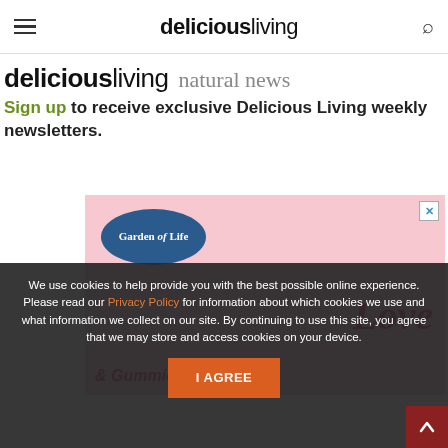deliciousliving (nav bar with hamburger menu and search icon)
deliciousliving natural news
Sign up to receive exclusive Delicious Living weekly newsletters.
[Figure (photo): Garden of Life advertisement banner showing supplement bottle, beet heart shape, and text 'Love' on pink background with 'Gummies' text and SHOP NOW button]
We use cookies to help provide you with the best possible online experience. Please read our Privacy Policy for information about which cookies we use and what information we collect on our site. By continuing to use this site, you agree that we may store and access cookies on your device.
I AGREE